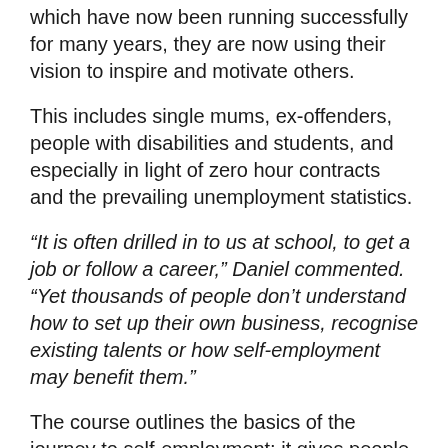which have now been running successfully for many years, they are now using their vision to inspire and motivate others.
This includes single mums, ex-offenders, people with disabilities and students, and especially in light of zero hour contracts and the prevailing unemployment statistics.
“It is often drilled in to us at school, to get a job or follow a career,” Daniel commented. “Yet thousands of people don’t understand how to set up their own business, recognise existing talents or how self-employment may benefit them.”
The course outlines the basics of the journey to self-employment; it gives people the opportunity to discuss a variety of different topics with two experienced entrepreneurs who were once in a